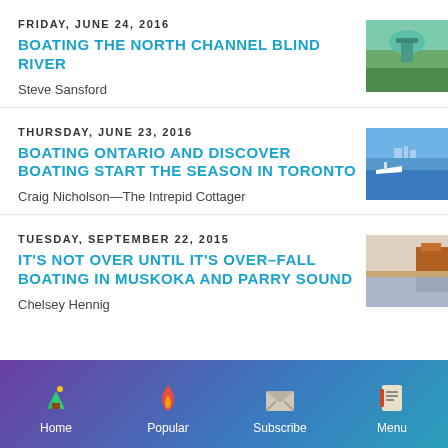FRIDAY, JUNE 24, 2016
BOATING THE NORTH CHANNEL BLIND RIVER
Steve Sansford
[Figure (photo): Photo of a water tower with trees and blue sky]
THURSDAY, JUNE 23, 2016
BOATING ONTARIO AND DISCOVER BOATING START THE SEASON IN TORONTO
Craig Nicholson—The Intrepid Cottager
[Figure (photo): Photo of a boat on water with city skyline in background]
TUESDAY, SEPTEMBER 22, 2015
IT'S NOT OVER UNTIL IT'S OVER–FALL BOATING IN MUSKOKA AND PARRY SOUND
Chelsey Hennig
[Figure (photo): Photo of a calm lake with autumn trees along the shore]
Home   Popular   Subscribe   Menu